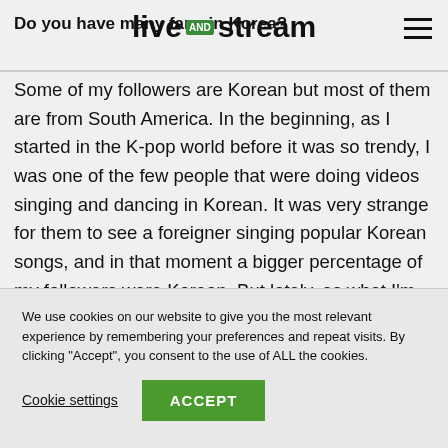Do you have many fans in Korea? | livestream
Some of my followers are Korean but most of them are from South America. In the beginning, as I started in the K-pop world before it was so trendy, I was one of the few people that were doing videos singing and dancing in Korean. It was very strange for them to see a foreigner singing popular Korean songs, and in that moment a bigger percentage of my followers were Korean. But lately, as what I'm doing most is covering
We use cookies on our website to give you the most relevant experience by remembering your preferences and repeat visits. By clicking "Accept", you consent to the use of ALL the cookies.
Cookie settings | ACCEPT